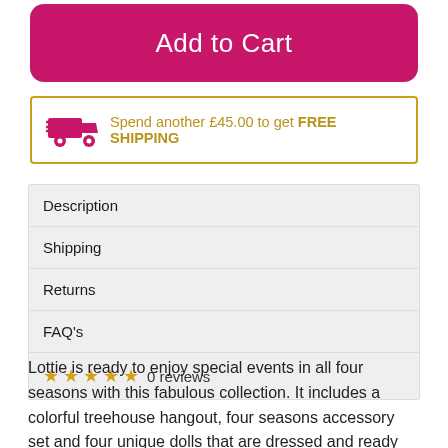Add to Cart
Spend another £45.00 to get FREE SHIPPING
Description
Shipping
Returns
FAQ's
★★★★★ 0 reviews
Lottie is ready to enjoy special events in all four seasons with this fabulous collection. It includes a colorful treehouse hangout, four seasons accessory set and four unique dolls that are dressed and ready for adventures in Spring, Summer, Fall…